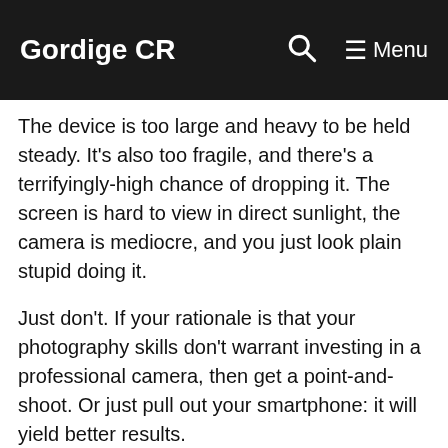Gordige CR  Menu
The device is too large and heavy to be held steady. It's also too fragile, and there's a terrifyingly-high chance of dropping it. The screen is hard to view in direct sunlight, the camera is mediocre, and you just look plain stupid doing it.
Just don't. If your rationale is that your photography skills don't warrant investing in a professional camera, then get a point-and-shoot. Or just pull out your smartphone: it will yield better results.
Apple's mobile devices all include cameras, but those on recent iPhones are vastly superior to what you'll get on even the most expensive iPad.